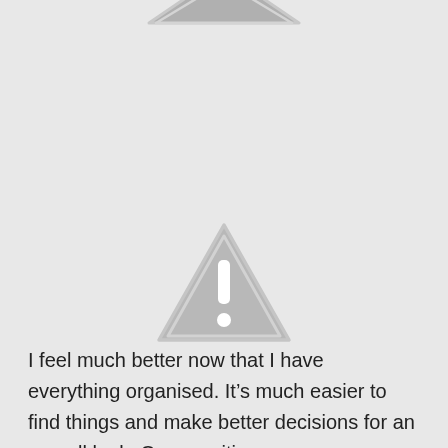[Figure (illustration): Partial grey warning/image placeholder triangle icon cropped at top of page]
[Figure (illustration): Grey warning triangle icon with exclamation mark in the center]
I feel much better now that I have everything organised. It’s much easier to find things and make better decisions for an overall look. On a positive